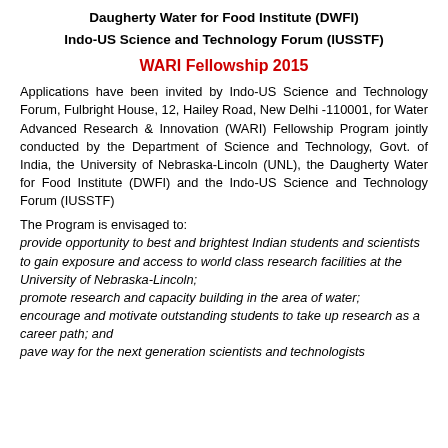Daugherty Water for Food Institute (DWFI)
Indo-US Science and Technology Forum (IUSSTF)
WARI Fellowship 2015
Applications have been invited by Indo-US Science and Technology Forum, Fulbright House, 12, Hailey Road, New Delhi -110001, for Water Advanced Research & Innovation (WARI) Fellowship Program jointly conducted by the Department of Science and Technology, Govt. of India, the University of Nebraska-Lincoln (UNL), the Daugherty Water for Food Institute (DWFI) and the Indo-US Science and Technology Forum (IUSSTF)
The Program is envisaged to:
provide opportunity to best and brightest Indian students and scientists to gain exposure and access to world class research facilities at the University of Nebraska-Lincoln;
promote research and capacity building in the area of water;
encourage and motivate outstanding students to take up research as a career path; and
pave way for the next generation scientists and technologists